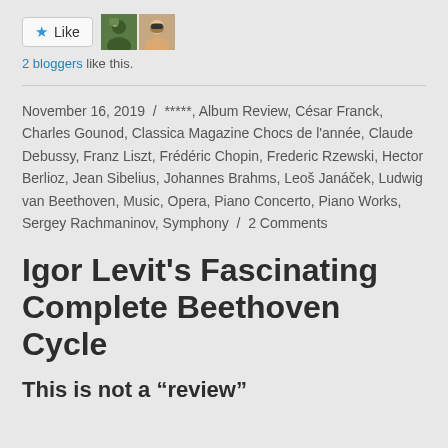[Figure (other): Like button with star icon and two blogger avatar images]
2 bloggers like this.
November 16, 2019  /  *****, Album Review, César Franck, Charles Gounod, Classica Magazine Chocs de l'année, Claude Debussy, Franz Liszt, Frédéric Chopin, Frederic Rzewski, Hector Berlioz, Jean Sibelius, Johannes Brahms, Leoš Janáček, Ludwig van Beethoven, Music, Opera, Piano Concerto, Piano Works, Sergey Rachmaninov, Symphony  /  2 Comments
Igor Levit's Fascinating Complete Beethoven Cycle
This is not a “review”